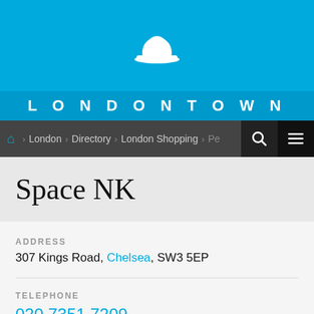[Figure (logo): LondonTown website header with white bowler hat icon on blue background and LONDONTOWN text]
LONDONTOWN
London > Directory > London Shopping > Pe... A...
Space NK
ADDRESS
307 Kings Road, Chelsea, SW3 5EP
TELEPHONE
020 7351 7209
OPENING TIMES
Today (Wednesday) Space NK closes at 18.00